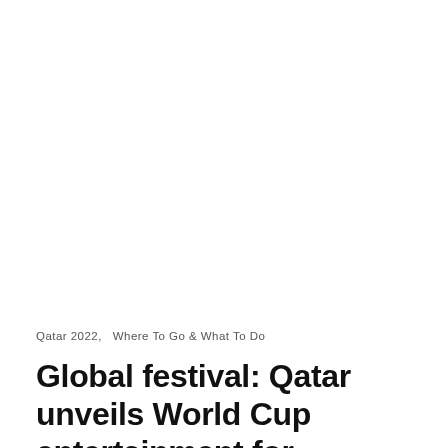Qatar 2022,   Where To Go & What To Do
Global festival: Qatar unveils World Cup entertainment for region's 'biggest mega-event'